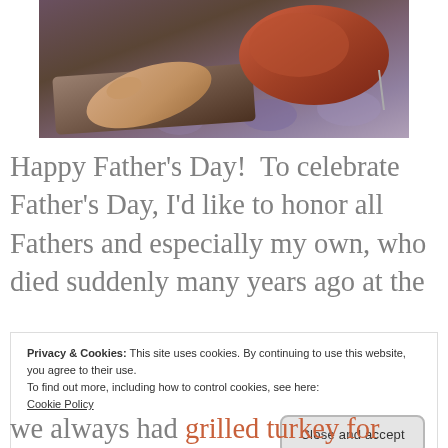[Figure (photo): Vintage photo of a person's hands handling a roasted meat/turkey on a tray on a patterned surface]
Happy Father's Day!  To celebrate Father's Day, I'd like to honor all Fathers and especially my own, who died suddenly many years ago at the
Privacy & Cookies: This site uses cookies. By continuing to use this website, you agree to their use.
To find out more, including how to control cookies, see here:
Cookie Policy
Close and accept
we always had grilled turkey for